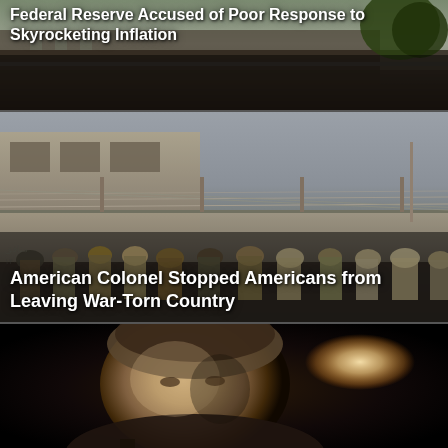[Figure (photo): News article card showing a building exterior with trees in the background, partially visible at top of page]
Federal Reserve Accused of Poor Response to Skyrocketing Inflation
[Figure (photo): News article card showing a large crowd of people on a street outside a wall with barbed wire, in Afghanistan]
American Colonel Stopped Americans from Leaving War-Torn Country
[Figure (photo): News article card showing a close-up portrait of a middle-aged man with short brown-grey hair against a dark background with a light bokeh]